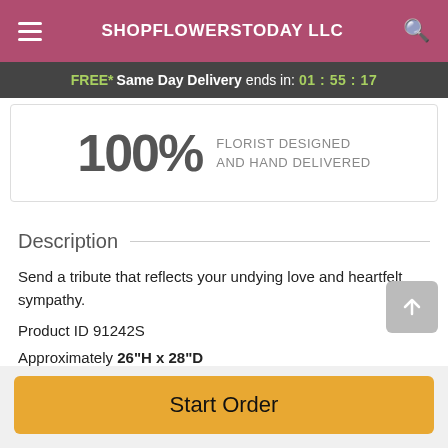SHOPFLOWERSTODAY LLC
FREE* Same Day Delivery ends in: 01:55:17
100% FLORIST DESIGNED AND HAND DELIVERED
Description
Send a tribute that reflects your undying love and heartfelt sympathy.
Product ID 91242S
Approximately 26"H x 28"D
Start Order